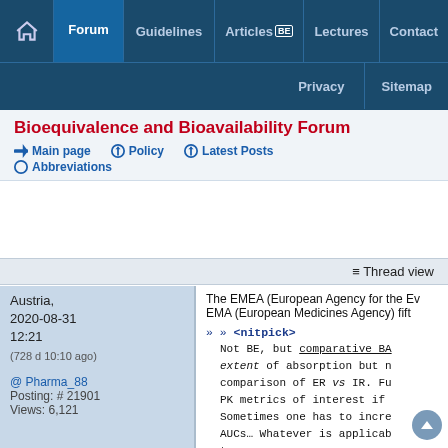Navigation: Home | Forum | Guidelines | Articles BE | Lectures | Contact | Privacy | Sitemap
Bioequivalence and Bioavailability Forum
Main page
Policy
Latest Posts
Abbreviations
Thread view
Austria, 2020-08-31 12:21 (728 d 10:10 ago)
@ Pharma_88
Posting: # 21901
Views: 6,121
The EMEA (European Agency for the Ev… EMA (European Medicines Agency) fif…
» » <nitpick>
    Not BE, but comparative BA… extent of absorption but n… comparison of ER vs IR. Fu… PK metrics of interest if… Sometimes one has to incre… AUCs… Whatever is applicab… term.
</nitpick>